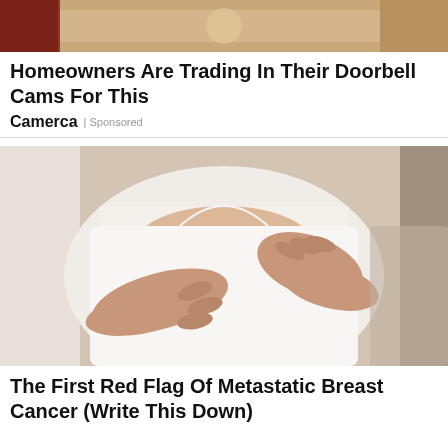[Figure (photo): Top cropped image showing partial view of a doorbell camera product or home scene, warm/sandy tones]
Homeowners Are Trading In Their Doorbell Cams For This
Camerca | Sponsored
[Figure (photo): Close-up photo of a person in a white tank top with hands placed on chest/breast area, medical context for breast cancer awareness]
The First Red Flag Of Metastatic Breast Cancer (Write This Down)